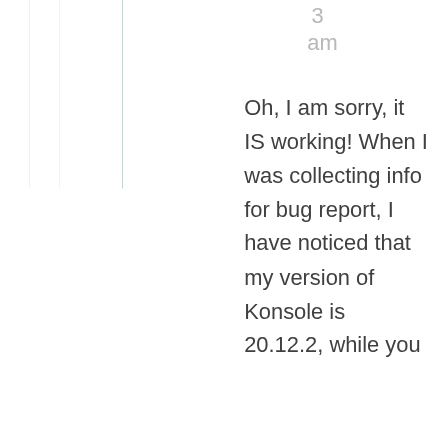3
am
Oh, I am sorry, it IS working! When I was collecting info for bug report, I have noticed that my version of Konsole is 20.12.2, while you